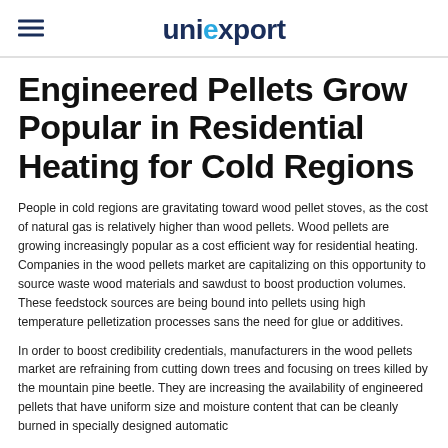uniexport
Engineered Pellets Grow Popular in Residential Heating for Cold Regions
People in cold regions are gravitating toward wood pellet stoves, as the cost of natural gas is relatively higher than wood pellets. Wood pellets are growing increasingly popular as a cost efficient way for residential heating. Companies in the wood pellets market are capitalizing on this opportunity to source waste wood materials and sawdust to boost production volumes. These feedstock sources are being bound into pellets using high temperature pelletization processes sans the need for glue or additives.
In order to boost credibility credentials, manufacturers in the wood pellets market are refraining from cutting down trees and focusing on trees killed by the mountain pine beetle. They are increasing the availability of engineered pellets that have uniform size and moisture content that can be cleanly burned in specially designed automatic